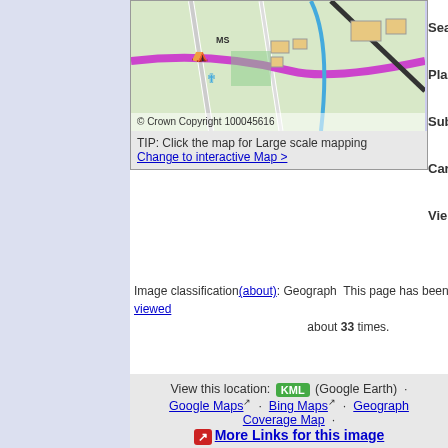[Figure (map): Ordnance Survey style map showing street layout with Crown Copyright 100045616 watermark. Shows MS label, roads, and geographic features.]
TIP: Click the map for Large scale mapping
Change to interactive Map >
Sea
Pla
Sub
Car
Vie
Image classification(about): GeographThis page has been viewed about 33 times.
View this location: KML (Google Earth) · Google Maps · Bing Maps · Geograph Coverage Map · More Links for this image